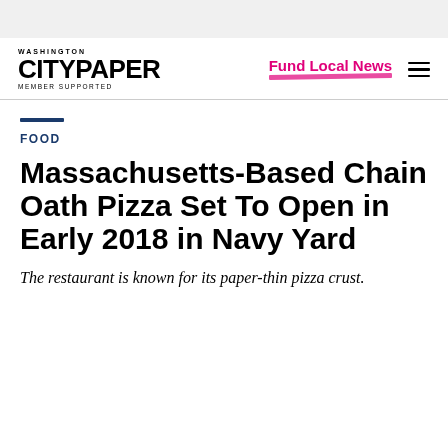Washington City Paper — MEMBER SUPPORTED | Fund Local News
FOOD
Massachusetts-Based Chain Oath Pizza Set To Open in Early 2018 in Navy Yard
The restaurant is known for its paper-thin pizza crust.